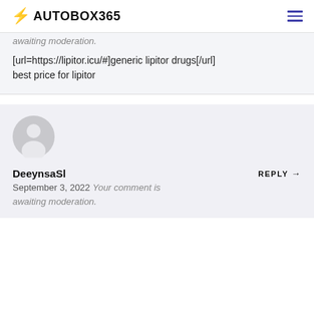⚡ AUTOBOX365
awaiting moderation.
[url=https://lipitor.icu/#]generic lipitor drugs[/url] best price for lipitor
[Figure (illustration): Default user avatar — grey circle with silhouette of a person]
DeeynsaSl
September 3, 2022 Your comment is awaiting moderation.